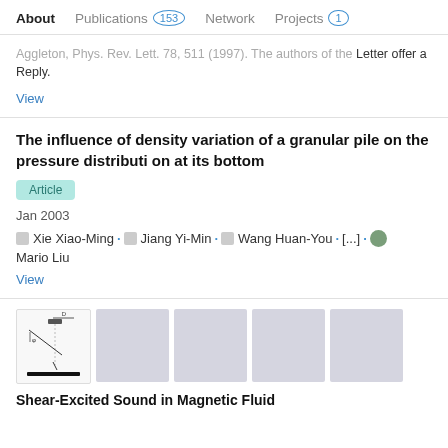About  Publications 153  Network  Projects 1
Aggleton, Phys. Rev. Lett. 78, 511 (1997). The authors of the Letter offer a Reply.
View
The influence of density variation of a granular pile on the pressure distributi on at its bottom
Article
Jan 2003
Xie Xiao-Ming · Jiang Yi-Min · Wang Huan-You · [...] · Mario Liu
View
[Figure (illustration): Five thumbnail images of scientific article figures; the first shows a diagram with a horizontal bar labeled D and an angled line, the remaining four are gray placeholder rectangles.]
Shear-Excited Sound in Magnetic Fluid